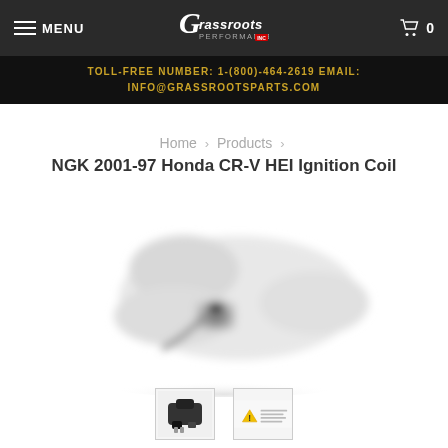MENU | Grassroots Performance | Cart 0
TOLL-FREE NUMBER: 1-(800)-464-2619 EMAIL: INFO@GRASSROOTSPARTS.COM
Home > Products > NGK 2001-97 Honda CR-V HEI Ignition Coil
[Figure (photo): Product photo of NGK HEI ignition coil, white/grey part on white background, blurred/soft focus]
[Figure (photo): Thumbnail 1: small dark ignition coil product photo]
[Figure (photo): Thumbnail 2: warning/caution image icon with yellow triangle and small text]